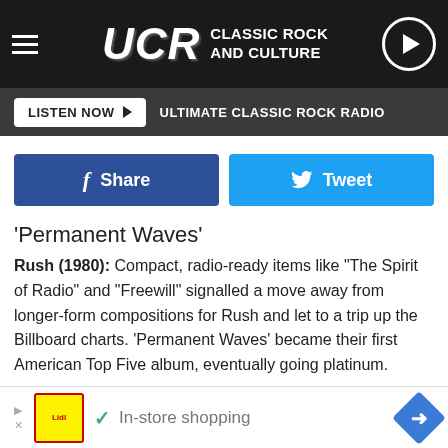UCR CLASSIC ROCK AND CULTURE
LISTEN NOW ▶  ULTIMATE CLASSIC ROCK RADIO
[Figure (screenshot): Facebook Share and Twitter Tweet social sharing buttons]
'Permanent Waves'
Rush (1980): Compact, radio-ready items like "The Spirit of Radio" and "Freewill" signalled a move away from longer-form compositions for Rush and let to a trip up the Billboard charts. 'Permanent Waves' became their first American Top Five album, eventually going platinum.
[Figure (photo): Album artwork strip showing 'Against the Wind' text and a handwritten signature]
[Figure (other): Advertisement banner for Lidl in-store shopping with navigation arrow icon]